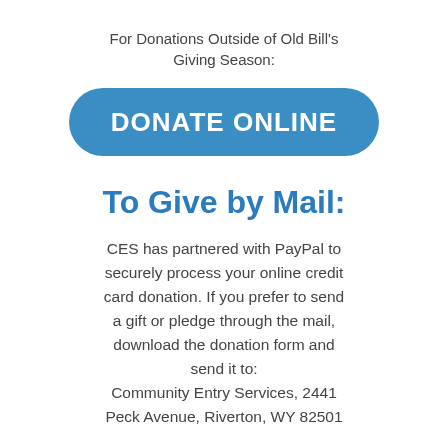For Donations Outside of Old Bill's Giving Season:
[Figure (other): Blue rounded rectangle button with white bold text reading DONATE ONLINE]
To Give by Mail:
CES has partnered with PayPal to securely process your online credit card donation. If you prefer to send a gift or pledge through the mail, download the donation form and send it to: Community Entry Services, 2441 Peck Avenue, Riverton, WY 82501